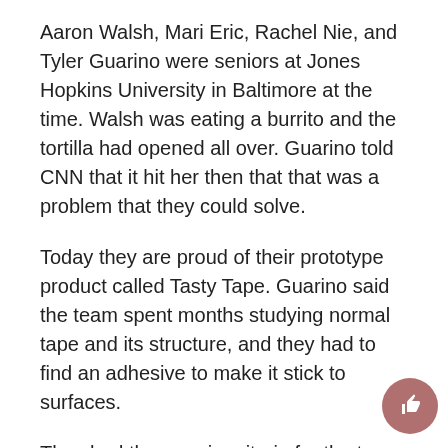Aaron Walsh, Mari Eric, Rachel Nie, and Tyler Guarino were seniors at Jones Hopkins University in Baltimore at the time. Walsh was eating a burrito and the tortilla had opened all over. Guarino told CNN that it hit her then that that was a problem that they could solve.
Today they are proud of their prototype product called Tasty Tape. Guarino said the team spent months studying normal tape and its structure, and they had to find an adhesive to make it stick to surfaces.
They had three main criteria for the tape: it had to be clear, with no taste, and no noticeable texture. After many tests, they had the magic recipe which had luckily also been gluten-free and suitable for vegans.